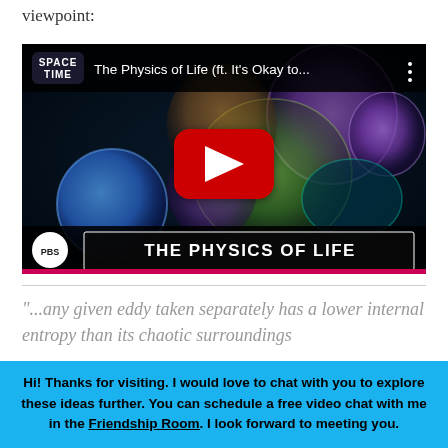viewpoint:
[Figure (screenshot): YouTube video thumbnail for 'The Physics of Life (ft. It's Okay to...' by PBS Space Time, showing colorful cell-like spheres on a dark background, a red YouTube play button in the center, and a title bar reading 'THE PHYSICS OF LIFE' at the bottom, with the PBS logo and Space Time logo visible.]
“...any given eddy taken separately has a lower internal entropy than its chaotic surroundings
Hi! Thanks for visiting. I would love to chat with you to explore these ideas further. You can schedule a free video chat with me in the Friendship Room. I look forward to meeting you.